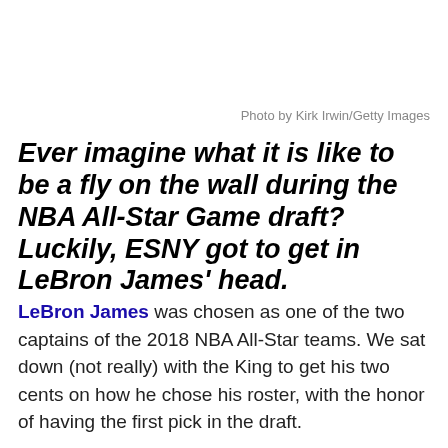Photo by Kirk Irwin/Getty Images
Ever imagine what it is like to be a fly on the wall during the NBA All-Star Game draft? Luckily, ESNY got to get in LeBron James' head.
LeBron James was chosen as one of the two captains of the 2018 NBA All-Star teams. We sat down (not really) with the King to get his two cents on how he chose his roster, with the honor of having the first pick in the draft.